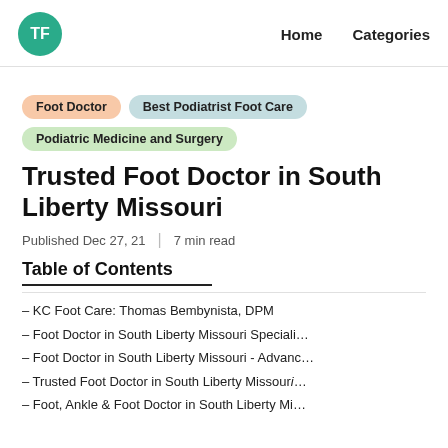TF | Home | Categories
Foot Doctor | Best Podiatrist Foot Care | Podiatric Medicine and Surgery
Trusted Foot Doctor in South Liberty Missouri
Published Dec 27, 21 | 7 min read
Table of Contents
– KC Foot Care: Thomas Bembynista, DPM
– Foot Doctor in South Liberty Missouri Speciali…
– Foot Doctor in South Liberty Missouri - Advanc…
– Trusted Foot Doctor in South Liberty Missour…
– Foot, Ankle & Foot Doctor in South Liberty Mi…